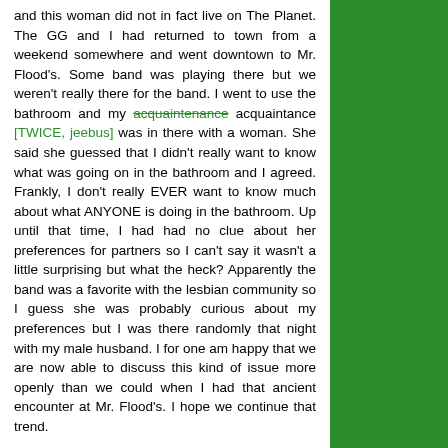and this woman did not in fact live on The Planet. The GG and I had returned to town from a weekend somewhere and went downtown to Mr. Flood's. Some band was playing there but we weren't really there for the band. I went to use the bathroom and my acquaintenance acquaintance [TWICE, jeebus] was in there with a woman. She said she guessed that I didn't really want to know what was going on in the bathroom and I agreed. Frankly, I don't really EVER want to know much about what ANYONE is doing in the bathroom. Up until that time, I had had no clue about her preferences for partners so I can't say it wasn't a little surprising but what the heck? Apparently the band was a favorite with the lesbian community so I guess she was probably curious about my preferences but I was there randomly that night with my male husband. I for one am happy that we are now able to discuss this kind of issue more openly than we could when I had that ancient encounter at Mr. Flood's. I hope we continue that trend.

Mr. Flood closed his party by posting a sign on the door saying, "It's been surreal."